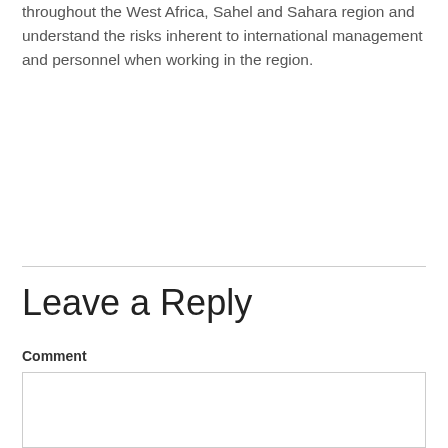throughout the West Africa, Sahel and Sahara region and understand the risks inherent to international management and personnel when working in the region.
Leave a Reply
Comment